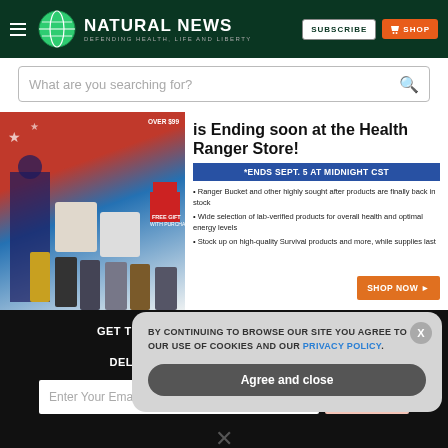NATURAL NEWS — DEFENDING HEALTH, LIFE AND LIBERTY
What are you searching for?
[Figure (screenshot): Health Ranger Store promotional banner: sale is Ending soon at the Health Ranger Store! *ENDS SEPT. 5 AT MIDNIGHT CST. Bullet points about Ranger Bucket products back in stock, lab-verified products, high-quality Survival products. SHOP NOW button.]
GET THE WORLD'S BEST NATURAL HEALTH NEWSLETTER DELIVERED STRAIGHT TO YOUR INBOX
Enter Your Email Address
SUBSCRIBE
BY CONTINUING TO BROWSE OUR SITE YOU AGREE TO OUR USE OF COOKIES AND OUR PRIVACY POLICY. Agree and close